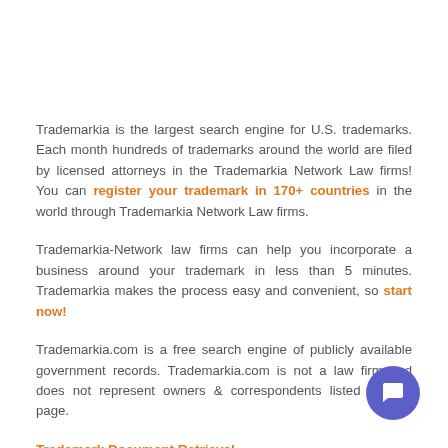Trademarkia is the largest search engine for U.S. trademarks. Each month hundreds of trademarks around the world are filed by licensed attorneys in the Trademarkia Network Law firms! You can register your trademark in 170+ countries in the world through Trademarkia Network Law firms.
Trademarkia-Network law firms can help you incorporate a business around your trademark in less than 5 minutes. Trademarkia makes the process easy and convenient, so start now!
Trademarkia.com is a free search engine of publicly available government records. Trademarkia.com is not a law firm and does not represent owners & correspondents listed on this page.
Trademark Document Retrieval